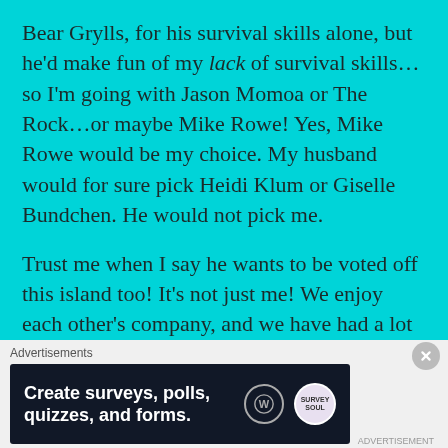Bear Grylls, for his survival skills alone, but he'd make fun of my lack of survival skills…so I'm going with Jason Momoa or The Rock…or maybe Mike Rowe! Yes, Mike Rowe would be my choice. My husband would for sure pick Heidi Klum or Giselle Bundchen. He would not pick me.
Trust me when I say he wants to be voted off this island too! It's not just me! We enjoy each other's company, and we have had a lot of fun together during the shelter-in-place order. We've spent time in the sun. He has helped me with my gardening. We've watched a lot of bad TV. We've had cocktails under the stars….and laughed till our stomachs hurt. But
Advertisements
[Figure (screenshot): Advertisement banner with dark background. Text reads: Create surveys, polls, quizzes, and forms. WordPress logo circle and SurveyMonkey logo circle on the right.]